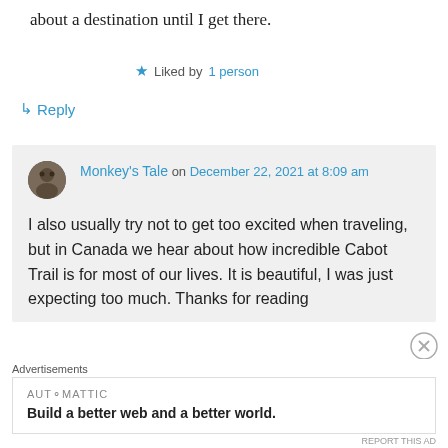about a destination until I get there.
★ Liked by 1 person
↳ Reply
Monkey's Tale on December 22, 2021 at 8:09 am
I also usually try not to get too excited when traveling, but in Canada we hear about how incredible Cabot Trail is for most of our lives. It is beautiful, I was just expecting too much. Thanks for reading
Advertisements
AUTOMATTIC
Build a better web and a better world.
REPORT THIS AD